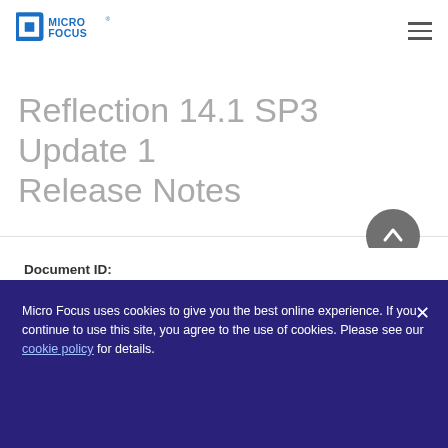Micro Focus logo and navigation menu
Reflection 14.1 SP3 Update 1 Release Notes
Document ID:
7021738
Creation Date:
Micro Focus uses cookies to give you the best online experience. If you continue to use this site, you agree to the use of cookies. Please see our cookie policy for details.